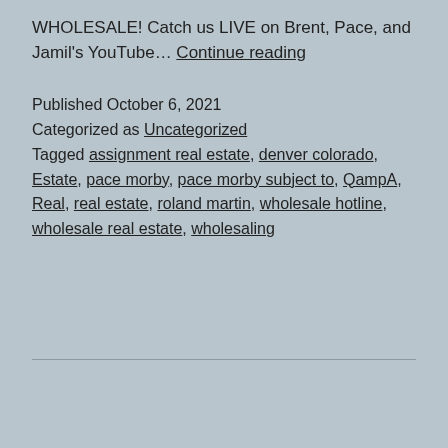WHOLESALE! Catch us LIVE on Brent, Pace, and Jamil's YouTube… Continue reading
Published October 6, 2021
Categorized as Uncategorized
Tagged assignment real estate, denver colorado, Estate, pace morby, pace morby subject to, QampA, Real, real estate, roland martin, wholesale hotline, wholesale real estate, wholesaling